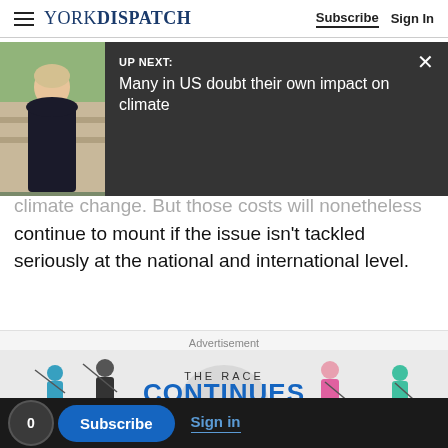YORK DISPATCH  Subscribe  Sign In
[Figure (screenshot): UP NEXT overlay showing a photo of a woman and headline 'Many in US doubt their own impact on climate']
climate change. But those costs will nonetheless continue to mount if the issue isn't tackled seriously at the national and international level.
Advertisement
[Figure (photo): Golf advertisement banner reading 'THE RACE CONTINUES' with golfers and a trophy]
0  Subscribe  Sign in